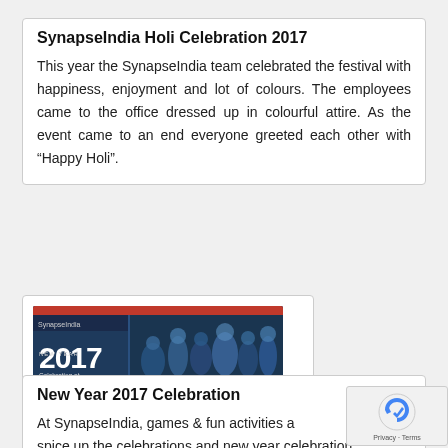SynapseIndia Holi Celebration 2017
This year the SynapseIndia team celebrated the festival with happiness, enjoyment and lot of colours. The employees came to the office dressed up in colourful attire. As the event came to an end everyone greeted each other with “Happy Holi”.
[Figure (photo): Photo collage showing New Year 2017 Celebration at SynapseIndia with crowd of employees, with red banner at top and group photos]
New Year 2017 Celebration
At SynapseIndia, games & fun activities a spice up the celebrations and new year celebration